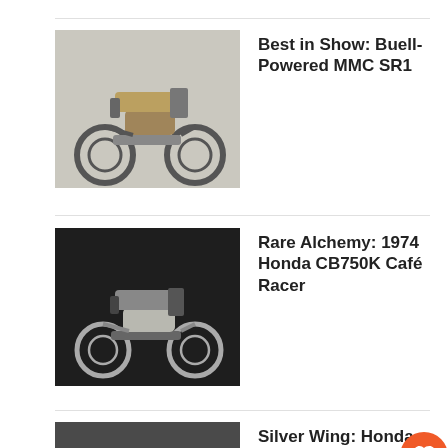Best in Show: Buell-Powered MMC SR1
Rare Alchemy: 1974 Honda CB750K Café Racer
Silver Wing: Honda GL650 Café Racer
Czech Yourself: Honda CB550 “Respect”